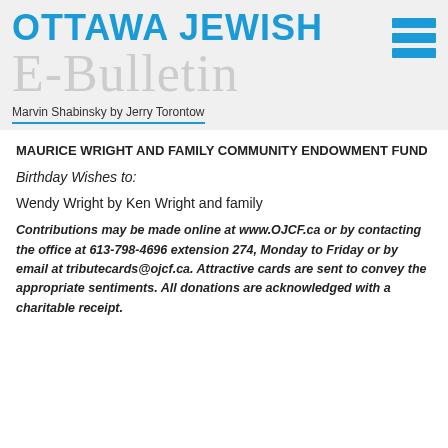OTTAWA JEWISH E-Bulletin
Marvin Shabinsky by Jerry Torontow
MAURICE WRIGHT AND FAMILY COMMUNITY ENDOWMENT FUND
Birthday Wishes to:
Wendy Wright by Ken Wright and family
Contributions may be made online at www.OJCF.ca or by contacting the office at 613-798-4696 extension 274, Monday to Friday or by email at tributecards@ojcf.ca. Attractive cards are sent to convey the appropriate sentiments. All donations are acknowledged with a charitable receipt.